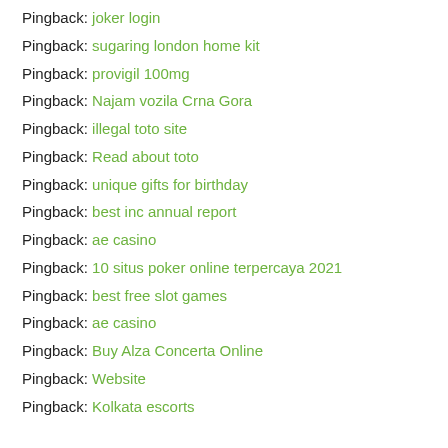Pingback: joker login
Pingback: sugaring london home kit
Pingback: provigil 100mg
Pingback: Najam vozila Crna Gora
Pingback: illegal toto site
Pingback: Read about toto
Pingback: unique gifts for birthday
Pingback: best inc annual report
Pingback: ae casino
Pingback: 10 situs poker online terpercaya 2021
Pingback: best free slot games
Pingback: ae casino
Pingback: Buy Alza Concerta Online
Pingback: Website
Pingback: Kolkata escorts